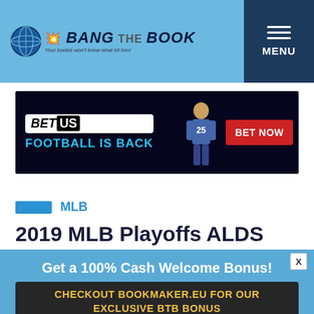Bang The Book — MENU
[Figure (screenshot): BetUS advertisement banner: FOOTBALL IS BACK — BET NOW]
MLB
2019 MLB Playoffs ALDS Preview & Prediction: Minnesota
Get a 100% Cash Welcome Bonus!
CHECKOUT BOOKMAKER.EU FOR OUR EXCLUSIVE BTB BONUS